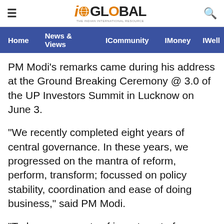iGLOBAL — Home | News & Views | ICommunity | IMoney | IWell
PM Modi's remarks came during his address at the Ground Breaking Ceremony @ 3.0 of the UP Investors Summit in Lucknow on June 3.
"We recently completed eight years of central governance. In these years, we progressed on the mantra of reform, perform, transform; focussed on policy stability, coordination and ease of doing business," said PM Modi.
"Today agreements of investment of more than Rs 80,000 crore have been done here. This record investment will create thousands of employment opportunities. I congratulate the youth of UP for it as they will be most benefitted from it," he stated